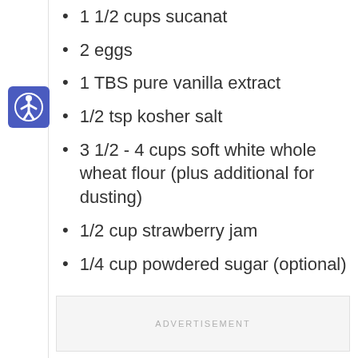1 1/2 cups sucanat
2 eggs
1 TBS pure vanilla extract
1/2 tsp kosher salt
3 1/2 - 4 cups soft white whole wheat flour (plus additional for dusting)
1/2 cup strawberry jam
1/4 cup powdered sugar (optional)
ADVERTISEMENT